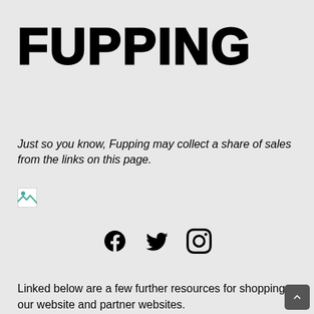FUPPING
Just so you know, Fupping may collect a share of sales from the links on this page.
[Figure (other): Broken/missing image placeholder icon]
[Figure (other): Social media icons: Facebook, Twitter, Instagram]
Linked below are a few further resources for shopping on our website and partner websites.
Below are a few positive causes you can read about and get involved with on our website and partner websites.